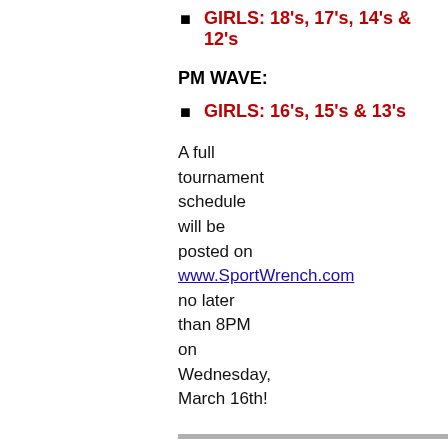GIRLS:  18's, 17's, 14's & 12's
PM WAVE:
GIRLS: 16's, 15's & 13's
A full tournament schedule will be posted on www.SportWrench.com no later than 8PM on Wednesday, March 16th!
SPECTATOR REGISTRATION INFORMATION
2021-2022 ADMISSION PRICING & PROCEDURES:
To keep our events private and better protect